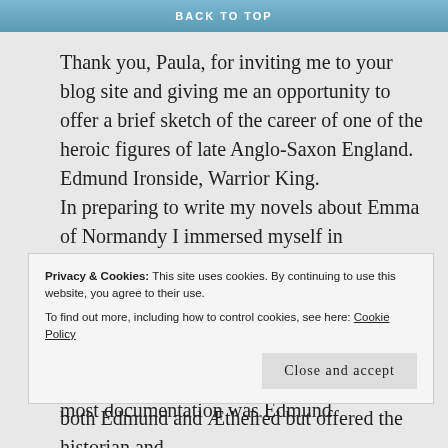BACK TO TOP
Thank you, Paula, for inviting me to your blog site and giving me an opportunity to offer a brief sketch of the career of one of the heroic figures of late Anglo-Saxon England.
Edmund Ironside, Warrior King.
In preparing to write my novels about Emma of Normandy I immersed myself in everything I could learn about the 11th century Anglo-Saxon royals, including Emma's stepchildren, the elder sons and daughters of Æthelred the Unready. Not surprisingly, the royal child who received the most documentation was Edmund
Privacy & Cookies: This site uses cookies. By continuing to use this website, you agree to their use.
To find out more, including how to control cookies, see here: Cookie Policy
Close and accept
both Edmund and Æthelred but offered the historian and